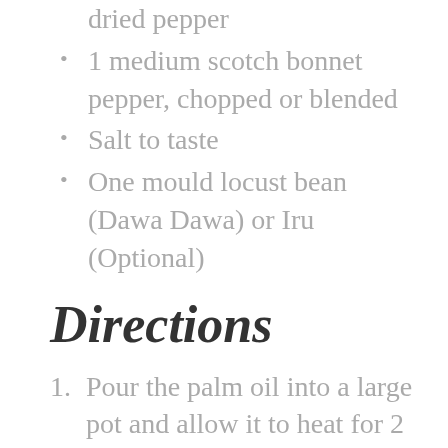dried pepper
1 medium scotch bonnet pepper, chopped or blended
Salt to taste
One mould locust bean (Dawa Dawa) or Iru (Optional)
Directions
Pour the palm oil into a large pot and allow it to heat for 2 minutes